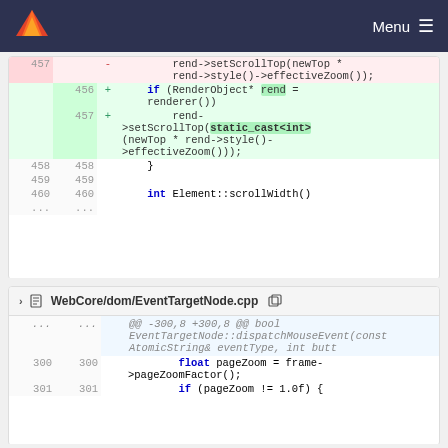Menu (GitLab navigation bar)
[Figure (screenshot): Git diff view showing code changes in two files. First diff block shows changes to lines 456-460 with a deleted line and added lines using static_cast<int>. Second diff block shows WebCore/dom/EventTargetNode.cpp with hunk header and line 300 showing float pageZoom = frame->pageZoomFactor();]
457 - rend->setScrollTop(newTop * rend->style()->effectiveZoom());
456 + if (RenderObject* rend = renderer())
457 + rend->setScrollTop(static_cast<int>(newTop * rend->style()->effectiveZoom()));
458 458 }
459 459
460 460 int Element::scrollWidth()
WebCore/dom/EventTargetNode.cpp
@@ -300,8 +300,8 @@ bool EventTargetNode::dispatchMouseEvent(const AtomicString& eventType, int butt
300 300 float pageZoom = frame->pageZoomFactor();
301 301 if (pageZoom != 1.0f) {